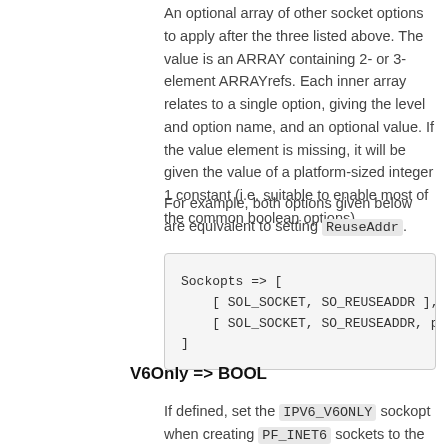An optional array of other socket options to apply after the three listed above. The value is an ARRAY containing 2- or 3-element ARRAYrefs. Each inner array relates to a single option, giving the level and option name, and an optional value. If the value element is missing, it will be given the value of a platform-sized integer 1 constant (i.e. suitable to enable most of the common boolean options).
For example, both options given below are equivalent to setting ReuseAddr.
Sockopts => [
    [ SOL_SOCKET, SO_REUSEADDR ],
    [ SOL_SOCKET, SO_REUSEADDR, pack( "i",
]
V6Only => BOOL
If defined, set the IPV6_V6ONLY sockopt when creating PF_INET6 sockets to the given value. If true, a listening mode socket will only listen on the